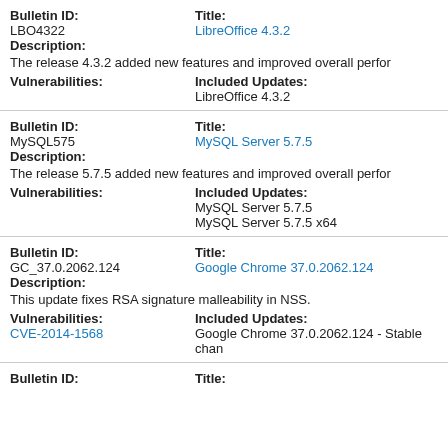| Bulletin ID: | Title: |
| --- | --- |
| LBO4322 | LibreOffice 4.3.2 |
| Description: |  |
| The release 4.3.2 added new features and improved overall perfo... |  |
| Vulnerabilities: | Included Updates: LibreOffice 4.3.2 |
| Bulletin ID: | Title: |
| --- | --- |
| MySQL575 | MySQL Server 5.7.5 |
| Description: |  |
| The release 5.7.5 added new features and improved overall perfo... |  |
| Vulnerabilities: | Included Updates: MySQL Server 5.7.5 / MySQL Server 5.7.5 x64 |
| Bulletin ID: | Title: |
| --- | --- |
| GC_37.0.2062.124 | Google Chrome 37.0.2062.124 |
| Description: |  |
| This update fixes RSA signature malleability in NSS. |  |
| Vulnerabilities: CVE-2014-1568 | Included Updates: Google Chrome 37.0.2062.124 - Stable chan... |
Bulletin ID: Title: